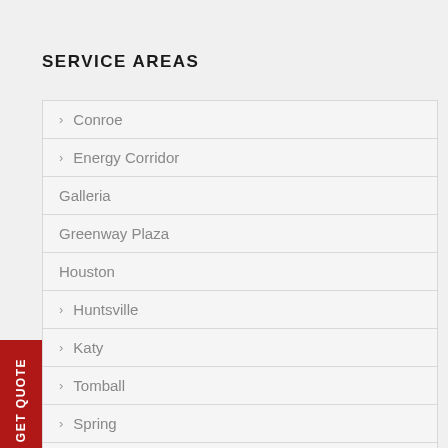SERVICE AREAS
Conroe
Energy Corridor
Galleria
Greenway Plaza
Houston
Huntsville
Katy
Tomball
Spring
The Woodlands